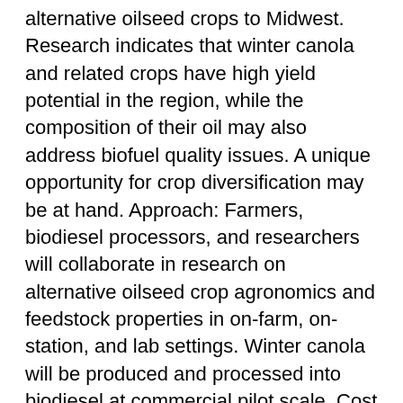alternative oilseed crops to Midwest. Research indicates that winter canola and related crops have high yield potential in the region, while the composition of their oil may also address biofuel quality issues. A unique opportunity for crop diversification may be at hand. Approach: Farmers, biodiesel processors, and researchers will collaborate in research on alternative oilseed crop agronomics and feedstock properties in on-farm, on-station, and lab settings. Winter canola will be produced and processed into biodiesel at commercial pilot scale. Cost of production and supply chain issues will be addressed. Outputs: Field days at on-farm, on-station, and biodiesel plant sites will be conducted. Results will be reported in the popular and scientific presses, and at research and industry meetings. Evaluation: Evaluation during the project will monitor process and progress toward outcomes, and surveys will be used at outreach events and after the project to